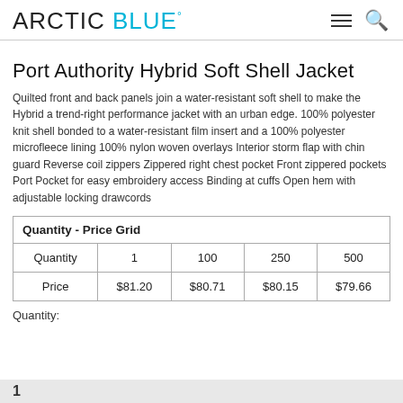ARCTIC BLUE
Port Authority Hybrid Soft Shell Jacket
Quilted front and back panels join a water-resistant soft shell to make the Hybrid a trend-right performance jacket with an urban edge. 100% polyester knit shell bonded to a water-resistant film insert and a 100% polyester microfleece lining 100% nylon woven overlays Interior storm flap with chin guard Reverse coil zippers Zippered right chest pocket Front zippered pockets Port Pocket for easy embroidery access Binding at cuffs Open hem with adjustable locking drawcords
| Quantity - Price Grid |  |  |  |  |
| --- | --- | --- | --- | --- |
| Quantity | 1 | 100 | 250 | 500 |
| Price | $81.20 | $80.71 | $80.15 | $79.66 |
Quantity: